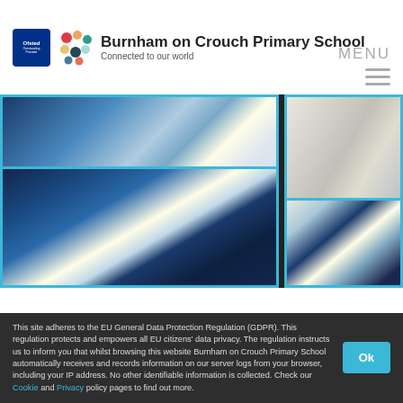Burnham on Crouch Primary School – Connected to our world
MENU
[Figure (photo): Children's artwork recreating Hokusai's 'The Great Wave off Kanagawa' – multiple painted and drawn versions on a dark background, framed with blue tape]
This site adheres to the EU General Data Protection Regulation (GDPR). This regulation protects and empowers all EU citizens' data privacy. The regulation instructs us to inform you that whilst browsing this website Burnham on Crouch Primary School automatically receives and records information on our server logs from your browser, including your IP address. No other identifiable information is collected. Check our Cookie and Privacy policy pages to find out more.